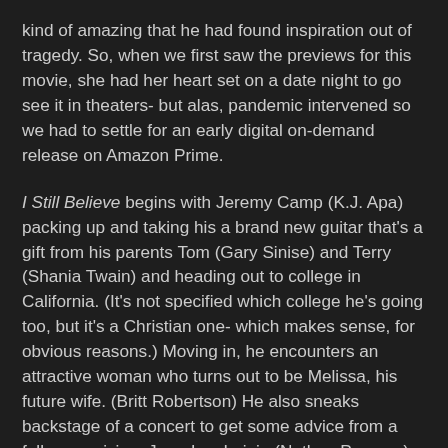kind of amazing that he had found inspiration out of tragedy. So, when we first saw the previews for this movie, she had her heart set on a date night to go see it in theaters- but alas, pandemic intervened so we had to settle for an early digital on-demand release on Amazon Prime.
I Still Believe begins with Jeremy Camp (K.J. Apa) packing up and taking his a brand new guitar that's a gift from his parents Tom (Gary Sinise) and Terry (Shania Twain) and heading out to college in California. (It's not specified which college he's going too, but it's a Christian one- which makes sense, for obvious reasons.) Moving in, he encounters an attractive woman who turns out to be Melissa, his future wife. (Britt Robertson) He also sneaks backstage of a concert to get some advice from a fellow musician, Jean-Luc Lajoie (Nathan Parsons) who, as it turns out, is also interested in Melissa.
Despite her best efforts, eventually Melissa is forced to concede that she and Jeremy do have a connection, but she